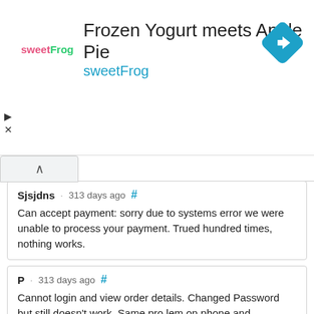[Figure (other): sweetFrog advertisement banner with logo, title 'Frozen Yogurt meets Apple Pie', subtitle 'sweetFrog', and navigation diamond icon]
Sjsjdns · 313 days ago # Can accept payment: sorry due to systems error we were unable to process your payment. Trued hundred times, nothing works.
P · 313 days ago # Cannot login and view order details. Changed Password but still doesn't work. Same pro lem on phone and computer browsers.
James · 313 days ago # Can't login to account, even after password change.